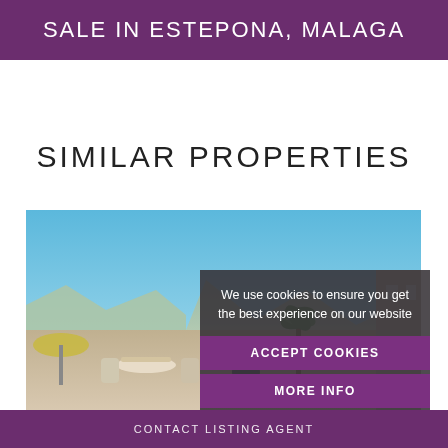SALE IN ESTEPONA, MALAGA
SIMILAR PROPERTIES
[Figure (photo): Outdoor rooftop terrace with patio furniture, BBQ grill, potted plants against a blue sky and mountains background]
We use cookies to ensure you get the best experience on our website
ACCEPT COOKIES
MORE INFO
CONTACT LISTING AGENT